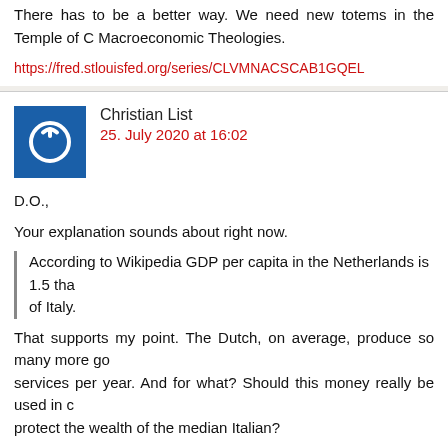There has to be a better way. We need new totems in the Temple of Macroeconomic Theologies.
https://fred.stlouisfed.org/series/CLVMNACSCAB1GQEL
Christian List
25. July 2020 at 16:02
D.O.,
Your explanation sounds about right now.
According to Wikipedia GDP per capita in the Netherlands is 1.5 that of Italy.
That supports my point. The Dutch, on average, produce so many more goods and services per year. And for what? Should this money really be used in order to protect the wealth of the median Italian?
https://en.wikipedia.org/wiki/List_of_countries_by_wealth_per_adult#By_co
D.O.
25. July 2020 at 16:25